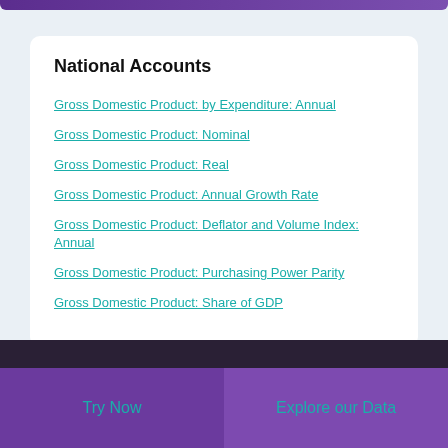National Accounts
Gross Domestic Product: by Expenditure: Annual
Gross Domestic Product: Nominal
Gross Domestic Product: Real
Gross Domestic Product: Annual Growth Rate
Gross Domestic Product: Deflator and Volume Index: Annual
Gross Domestic Product: Purchasing Power Parity
Gross Domestic Product: Share of GDP
Try Now | Explore our Data